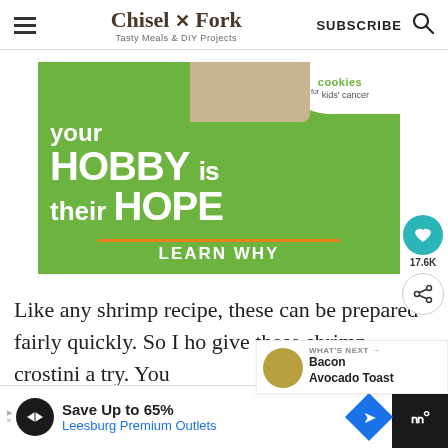Chisel & Fork — Tasty Meals & DIY Projects — SUBSCRIBE
[Figure (photo): Advertisement banner for Cookies for Kids' Cancer on green background with text: 'your HOBBY is their HOPE — LEARN WHY']
Like any shrimp recipe, these can be prepared fairly quickly. So I ho give these shrimp crostini a try. You
[Figure (photo): What's Next panel showing Bacon Avocado Toast thumbnail]
[Figure (photo): Bottom advertisement: Save Up to 65% Leesburg Premium Outlets]